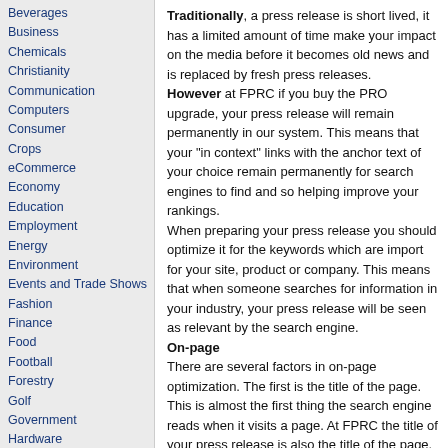Beverages
Business
Chemicals
Christianity
Communication
Computers
Consumer
Crops
eCommerce
Economy
Education
Employment
Energy
Environment
Events and Trade Shows
Fashion
Finance
Food
Football
Forestry
Golf
Government
Hardware
Healthcare
Holidays
Human Resources
Immigration Services
Information Technology
Insurance
Internet
Investment Services
Traditionally, a press release is short lived, it has a limited amount of time make your impact on the media before it becomes old news and is replaced by fresh press releases.
However at FPRC if you buy the PRO upgrade, your press release will remain permanently in our system. This means that your "in context" links with the anchor text of your choice remain permanently for search engines to find and so helping improve your rankings.
When preparing your press release you should optimize it for the keywords which are import for your site, product or company. This means that when someone searches for information in your industry, your press release will be seen as relevant by the search engine.
On-page
There are several factors in on-page optimization. The first is the title of the page. This is almost the first thing the search engine reads when it visits a page. At FPRC the title of your press release is also the title of the page. So when preparing your press release try to put some of your important words in the headline, however don't force them in as then you will alienate your readers (the journalists).
After the title is the heading tags on the page. Like the title of the page, your headline will become the